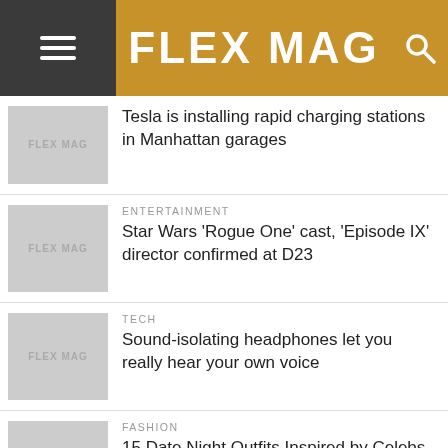FLEX MAG
Tesla is installing rapid charging stations in Manhattan garages
ENTERTAINMENT
Star Wars 'Rogue One' cast, 'Episode IX' director confirmed at D23
TECH
Sound-isolating headphones let you really hear your own voice
FASHION
15 Date Night Outfits Inspired by Celebs